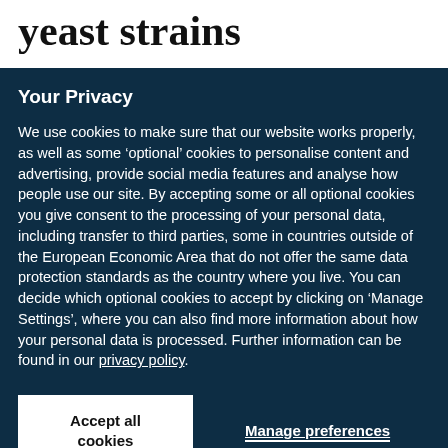yeast strains
Your Privacy
We use cookies to make sure that our website works properly, as well as some ‘optional’ cookies to personalise content and advertising, provide social media features and analyse how people use our site. By accepting some or all optional cookies you give consent to the processing of your personal data, including transfer to third parties, some in countries outside of the European Economic Area that do not offer the same data protection standards as the country where you live. You can decide which optional cookies to accept by clicking on ‘Manage Settings’, where you can also find more information about how your personal data is processed. Further information can be found in our privacy policy.
Accept all cookies
Manage preferences